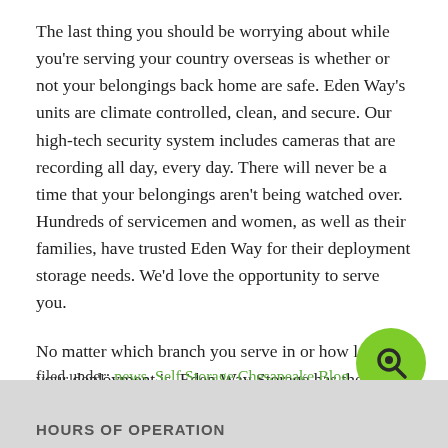The last thing you should be worrying about while you're serving your country overseas is whether or not your belongings back home are safe. Eden Way's units are climate controlled, clean, and secure. Our high-tech security system includes cameras that are recording all day, every day. There will never be a time that your belongings aren't being watched over. Hundreds of servicemen and women, as well as their families, have trusted Eden Way for their deployment storage needs. We'd love the opportunity to serve you.
No matter which branch you serve in or how long your deployment is, Eden Way Storage has the perfect solution for you and your family. Call us today at (757) 337-5990 for your free tour. Thank you for your service!
filed under: news, Self Storage Chesapeake Blog
HOURS OF OPERATION